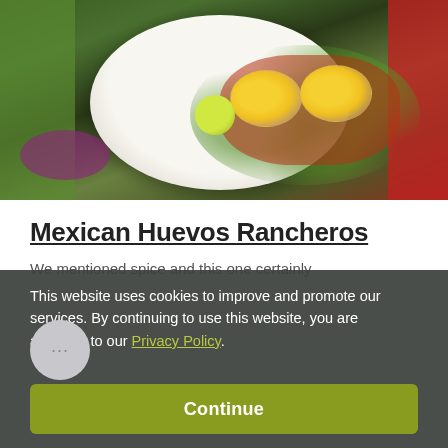[Figure (photo): A white plate of Mexican Huevos Rancheros with fried eggs, salsa roja, avocado slices, lime wedges, and purple cabbage on a dark slate surface. Green textured cloth on the left, red cloth on the right.]
Mexican Huevos Rancheros
We mentioned spice and this one certainly
This website uses cookies to improve and promote our services. By continuing to use this website, you are agreeing to our Privacy Policy.
Continue